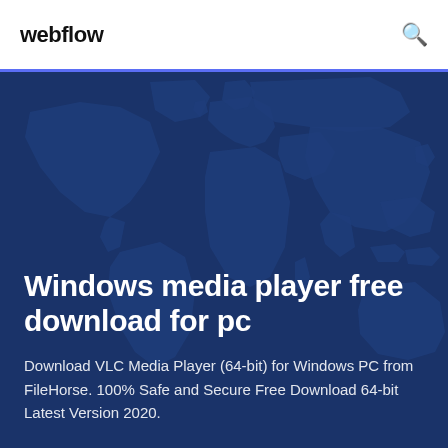webflow
[Figure (illustration): World map silhouette in dark blue tones used as hero background]
Windows media player free download for pc
Download VLC Media Player (64-bit) for Windows PC from FileHorse. 100% Safe and Secure Free Download 64-bit Latest Version 2020.